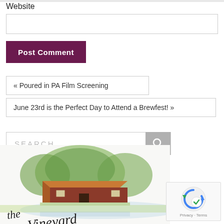Website
[input field]
Post Comment
« Poured in PA Film Screening
June 23rd is the Perfect Day to Attend a Brewfest! »
SEARCH
[Figure (illustration): Watercolor illustration of a vineyard building with trees and cursive text 'the Vineyard' below]
[Figure (other): reCAPTCHA widget with Privacy and Terms links]